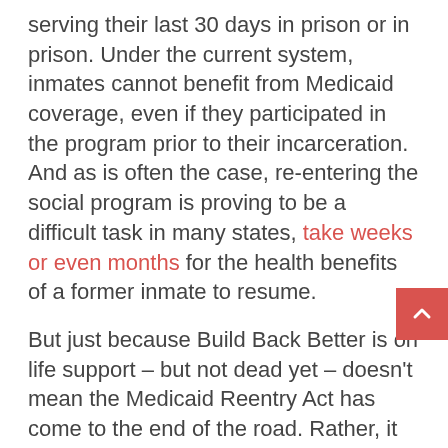serving their last 30 days in prison or in prison. Under the current system, inmates cannot benefit from Medicaid coverage, even if they participated in the program prior to their incarceration. And as is often the case, re-entering the social program is proving to be a difficult task in many states, take weeks or even months for the health benefits of a former inmate to resume.
But just because Build Back Better is on life support – but not dead yet – doesn't mean the Medicaid Reentry Act has come to the end of the road. Rather, it opens up an opportunity for Congress to tackle this problem head-on, either by tying it into another piece of legislation or by mobilizing bipartisan support for another round of criminal justice reform. Either way, Congress should make sure not only to pass the Medicaid Reentry Act, but